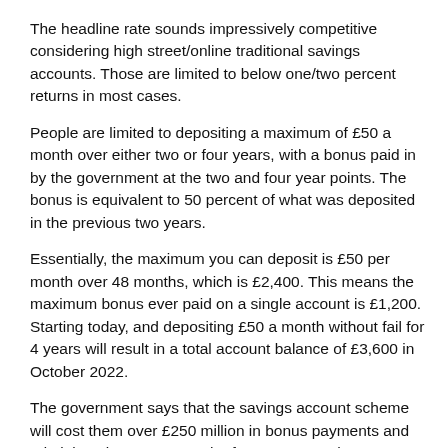The headline rate sounds impressively competitive considering high street/online traditional savings accounts. Those are limited to below one/two percent returns in most cases.
People are limited to depositing a maximum of £50 a month over either two or four years, with a bonus paid in by the government at the two and four year points. The bonus is equivalent to 50 percent of what was deposited in the previous two years.
Essentially, the maximum you can deposit is £50 per month over 48 months, which is £2,400. This means the maximum bonus ever paid on a single account is £1,200. Starting today, and depositing £50 a month without fail for 4 years will result in a total account balance of £3,600 in October 2022.
The government says that the savings account scheme will cost them over £250 million in bonus payments and administration costs over the four year run. The costs could be more of a 'lost income' as even though the bonuses paid are 'tax-free', the deposits made by savers will be 'post-tax'.
In a previous article regarding this scheme we calculated that someone earning £17,000 per year, who has expenditure of £1,000 a month and then £50 of the remaining post-tax income for help to